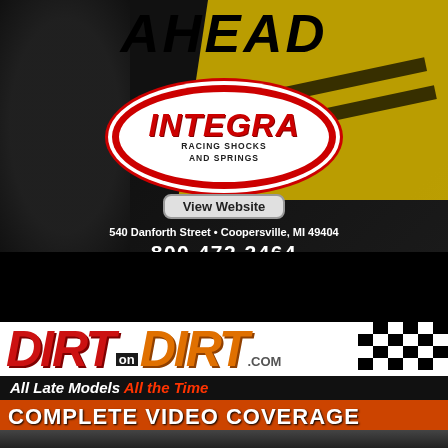[Figure (advertisement): Integra Racing Shocks and Springs advertisement. Dark background with yellow road texture, black shock absorber product photo. INTEGRA logo in red oval, 'RACING SHOCKS AND SPRINGS' subtext, 'View Website' button, address '540 Danforth Street • Coopersville, MI 49404', phone '800.472.2464'. 'AHEAD' text at top.]
[Figure (advertisement): DirtOnDirt.com advertisement. White background with 'DIRT on DIRT .com' logo in red and orange italic text with checkered flag graphic. Tagline 'All Late Models All the Time' on dark bar. Orange bar with 'COMPLETE VIDEO COVERAGE' text. Race car photo at bottom.]